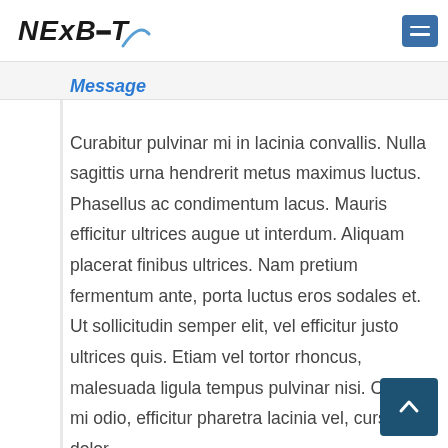NEXBIT
Message
Curabitur pulvinar mi in lacinia convallis. Nulla sagittis urna hendrerit metus maximus luctus. Phasellus ac condimentum lacus. Mauris efficitur ultrices augue ut interdum. Aliquam placerat finibus ultrices. Nam pretium fermentum ante, porta luctus eros sodales et. Ut sollicitudin semper elit, vel efficitur justo ultrices quis. Etiam vel tortor rhoncus, malesuada ligula tempus pulvinar nisi. Cras mi odio, efficitur pharetra lacinia vel, cursus at dolor.